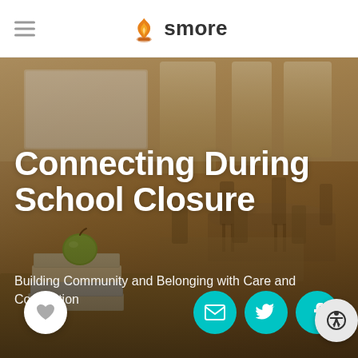smore
[Figure (photo): Blurred classroom background with desks, chairs, and a stack of books with a green apple on top. Serves as hero image background for the newsletter header.]
Connecting During School Closure
Building Community and Belonging with Care and Connection